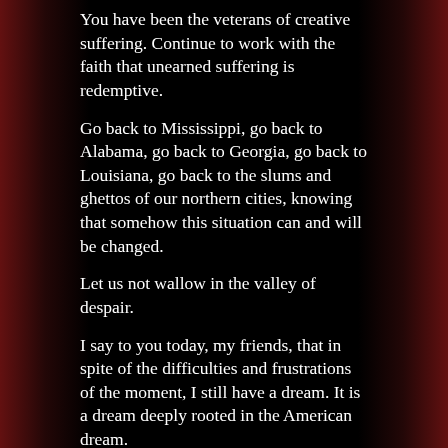You have been the veterans of creative suffering. Continue to work with the faith that unearned suffering is redemptive.
Go back to Mississippi, go back to Alabama, go back to Georgia, go back to Louisiana, go back to the slums and ghettos of our northern cities, knowing that somehow this situation can and will be changed.
Let us not wallow in the valley of despair.
I say to you today, my friends, that in spite of the difficulties and frustrations of the moment, I still have a dream. It is a dream deeply rooted in the American dream.
I have a dream that one day this nation will rise up and live out the true meaning of its creed: "We hold these truths to be self-evident: that all men are created equal."